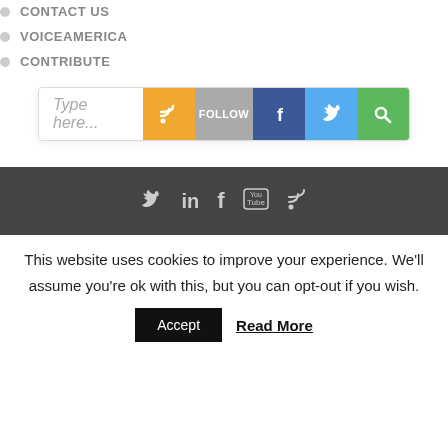CONTACT US
VOICEAMERICA
CONTRIBUTE
[Figure (screenshot): Search bar with social media icons: RSS (orange), Follow (gray), Facebook (dark blue), Twitter (light blue), Search/magnifier (green)]
[Figure (infographic): Dark gray footer bar with social media icons: Twitter bird, LinkedIn 'in', Facebook 'f', YouTube, RSS feed]
This website uses cookies to improve your experience. We'll assume you're ok with this, but you can opt-out if you wish.
Accept   Read More